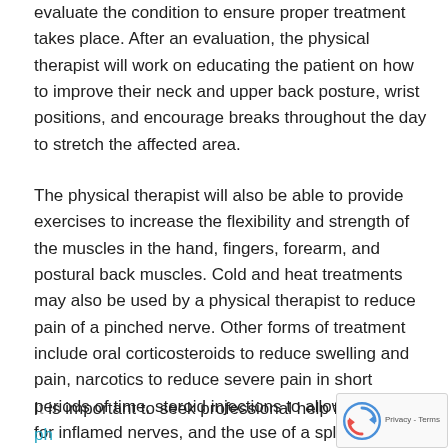evaluate the condition to ensure proper treatment takes place. After an evaluation, the physical therapist will work on educating the patient on how to improve their neck and upper back posture, wrist positions, and encourage breaks throughout the day to stretch the affected area.
The physical therapist will also be able to provide exercises to increase the flexibility and strength of the muscles in the hand, fingers, forearm, and postural back muscles. Cold and heat treatments may also be used by a physical therapist to reduce pain of a pinched nerve. Other forms of treatment include oral corticosteroids to reduce swelling and pain, narcotics to reduce severe pain in short periods of time, steroid injections to allow recovery for inflamed nerves, and the use of a splint will be able to limit the motion of and allow rest to muscles.
It is important to seek professional help from a physical therapist if pain persists in order to diagnose the